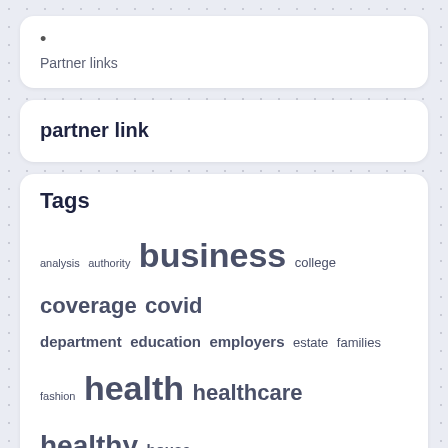• Partner links
partner link
Tags
analysis authority business college coverage covid department education employers estate families fashion health healthcare healthy house ideas improvement individuals information insurance international journal ladiess leisure lifestyle marketplace medical medicare omicron